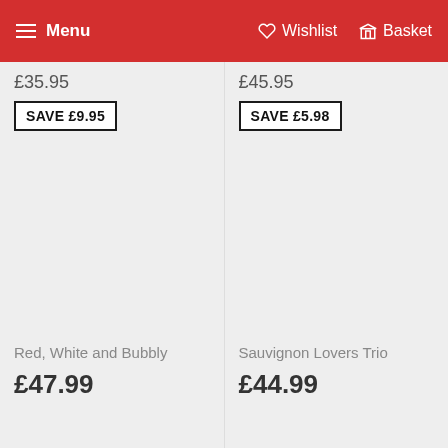Menu  Wishlist  Basket
£35.95
SAVE £9.95
Red, White and Bubbly
£47.99
£45.95
SAVE £5.98
Sauvignon Lovers Trio
£44.99